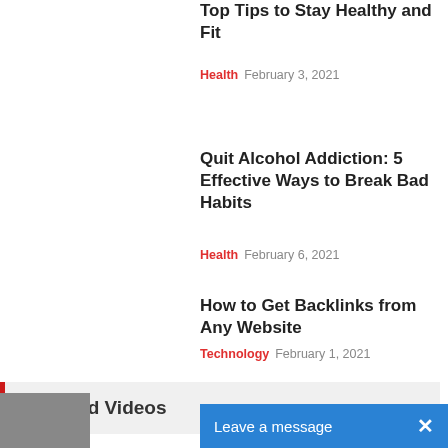Top Tips to Stay Healthy and Fit
Health  February 3, 2021
Quit Alcohol Addiction: 5 Effective Ways to Break Bad Habits
Health  February 6, 2021
How to Get Backlinks from Any Website
Technology  February 1, 2021
Featured Videos
Leave a message  ×